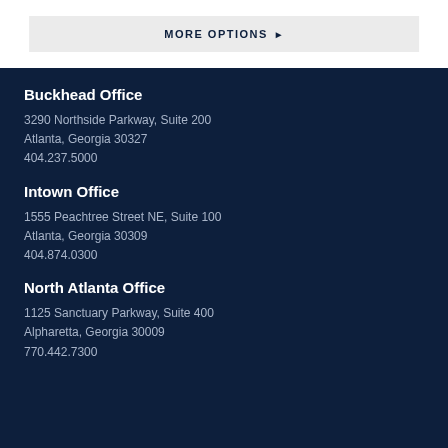MORE OPTIONS ▶
Buckhead Office
3290 Northside Parkway, Suite 200
Atlanta, Georgia 30327
404.237.5000
Intown Office
1555 Peachtree Street NE, Suite 100
Atlanta, Georgia 30309
404.874.0300
North Atlanta Office
1125 Sanctuary Parkway, Suite 400
Alpharetta, Georgia 30009
770.442.7300